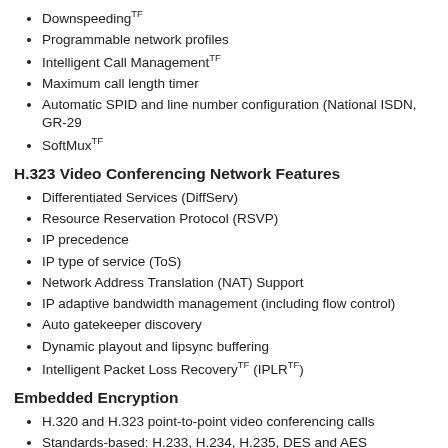Downspeeding TF
Programmable network profiles
Intelligent Call Management TF
Maximum call length timer
Automatic SPID and line number configuration (National ISDN, GR-29
SoftMux TF
H.323 Video Conferencing Network Features
Differentiated Services (DiffServ)
Resource Reservation Protocol (RSVP)
IP precedence
IP type of service (ToS)
Network Address Translation (NAT) Support
IP adaptive bandwidth management (including flow control)
Auto gatekeeper discovery
Dynamic playout and lipsync buffering
Intelligent Packet Loss Recovery TF (IPLR TF)
Embedded Encryption
H.320 and H.323 point-to-point video conferencing calls
Standards-based: H.233, H.234, H.235, DES and AES
Automatic key generation and exchange
Security Features for the Tandberg 1000